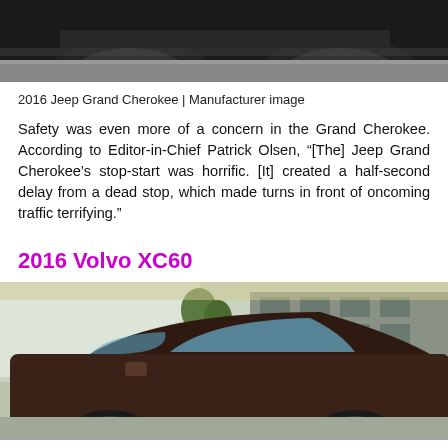[Figure (photo): Bottom portion of a Jeep Grand Cherokee showing the undercarriage and tires on pavement, dark background]
2016 Jeep Grand Cherokee | Manufacturer image
Safety was even more of a concern in the Grand Cherokee. According to Editor-in-Chief Patrick Olsen, “[The] Jeep Grand Cherokee’s stop-start was horrific. [It] created a half-second delay from a dead stop, which made turns in front of oncoming traffic terrifying.”
2016 Volvo XC60
[Figure (photo): 2016 Volvo XC60 SUV parked outdoors near a building with trees in background, dark reddish-brown color]